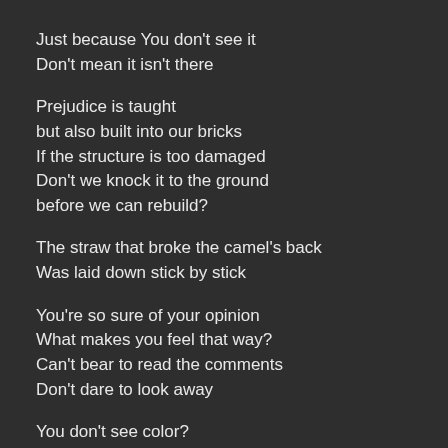Just because You don't see it
Don't mean it isn't there
Prejudice is taught
but also built into our bricks
If the structure is too damaged
Don't we knock it to the ground
before we can rebuild?
The straw that broke the camel's back
Was laid down stick by stick
You're so sure of your opinion
What makes you feel that way?
Can't bear to read the comments
Don't dare to look away
You don't see color?